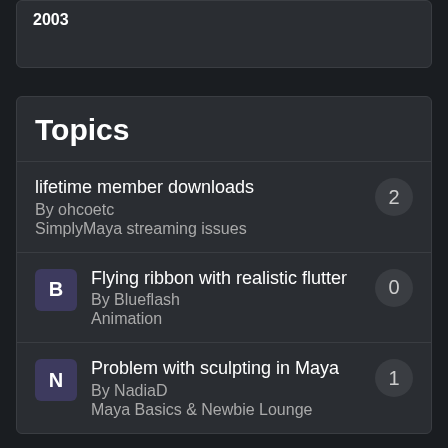2003
Topics
lifetime member downloads
By ohcoetc
SimplyMaya streaming issues
2
Flying ribbon with realistic flutter
By Blueflash
Animation
0
Problem with sculpting in Maya
By NadiaD
Maya Basics & Newbie Lounge
1